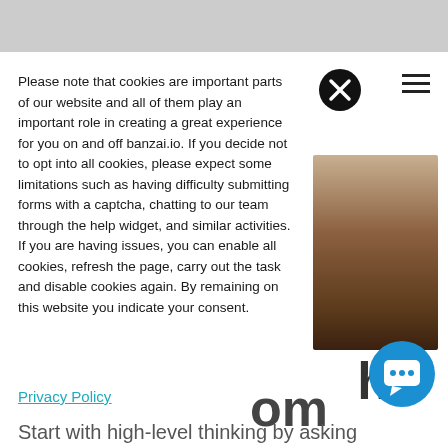[Figure (screenshot): Top image strip showing a partially visible website header with blurred/greyed content]
[Figure (screenshot): Close (X) button circle icon in dark/black]
[Figure (screenshot): Hamburger menu icon (three horizontal lines) at top right]
Please note that cookies are important parts of our website and all of them play an important role in creating a great experience for you on and off banzai.io. If you decide not to opt into all cookies, please expect some limitations such as having difficulty submitting forms with a captcha, chatting to our team through the help widget, and similar activities. If you are having issues, you can enable all cookies, refresh the page, carry out the task and disable cookies again. By remaining on this website you indicate your consent.
[Figure (photo): Brown/dark gradient rectangle image on the right side of the page]
he
Privacy Policy
om
[Figure (screenshot): Blue circular chat/support button with chat bubble icon]
Start with high-level thinking by asking